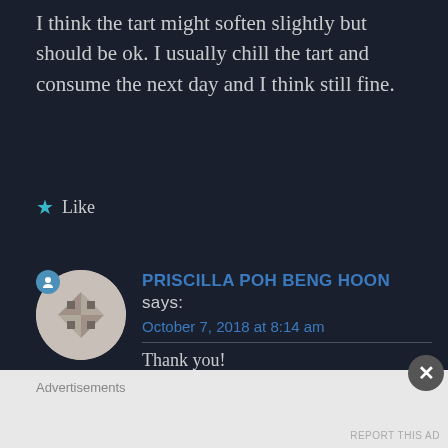I think the tart might soften slightly but should be ok. I usually chill the tart and consume the next day and I think still fine.
★ Like
PRISCILLA POH BENG HOON says: October 7, 2018 at 8:14 am
Thank you!
Advertisements
REPORT THIS AD